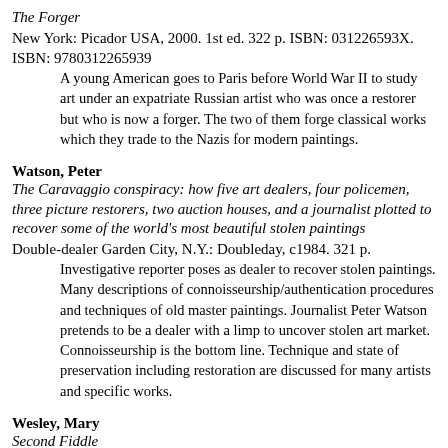The Forger
New York: Picador USA, 2000. 1st ed. 322 p. ISBN: 031226593X. ISBN: 9780312265939
A young American goes to Paris before World War II to study art under an expatriate Russian artist who was once a restorer but who is now a forger. The two of them forge classical works which they trade to the Nazis for modern paintings.
Watson, Peter
The Caravaggio conspiracy: how five art dealers, four policemen, three picture restorers, two auction houses, and a journalist plotted to recover some of the world's most beautiful stolen paintings
Double-dealer Garden City, N.Y.: Doubleday, c1984. 321 p.
Investigative reporter poses as dealer to recover stolen paintings. Many descriptions of connoisseurship/authentication procedures and techniques of old master paintings. Journalist Peter Watson pretends to be a dealer with a limp to uncover stolen art market. Connoisseurship is the bottom line. Technique and state of preservation including restoration are discussed for many artists and specific works.
Wesley, Mary
Second Fiddle